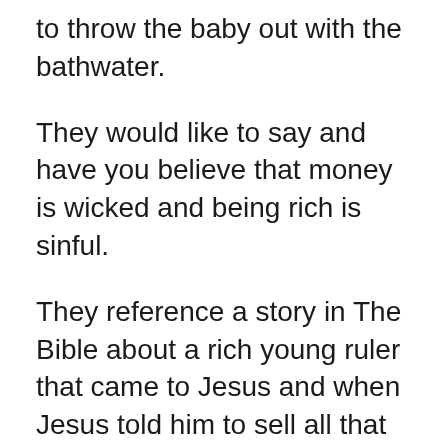to throw the baby out with the bathwater.
They would like to say and have you believe that money is wicked and being rich is sinful.
They reference a story in The Bible about a rich young ruler that came to Jesus and when Jesus told him to sell all that he had and give to the poor the Scripture say that he walked away sadly because he was very rich.
Then Jesus said to His disciples that it is